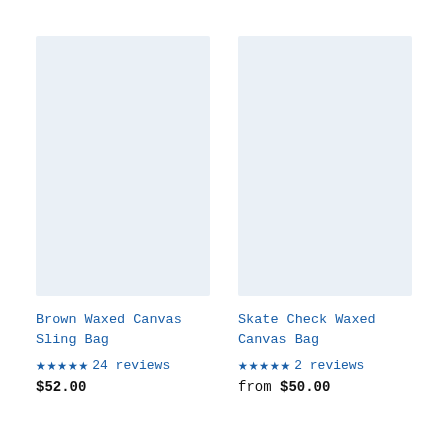[Figure (photo): Product image placeholder — light blue-grey rectangle for Brown Waxed Canvas Sling Bag]
Brown Waxed Canvas Sling Bag
★★★★★ 24 reviews
$52.00
[Figure (photo): Product image placeholder — light blue-grey rectangle for Skate Check Waxed Canvas Bag]
Skate Check Waxed Canvas Bag
★★★★★ 2 reviews
from $50.00